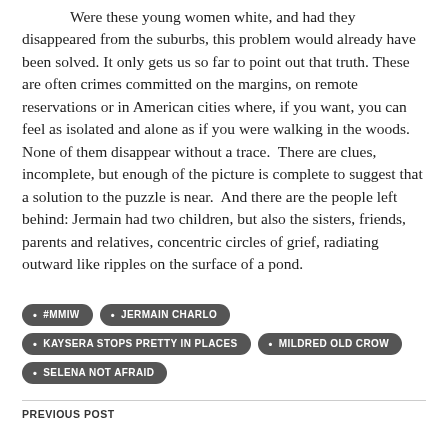Were these young women white, and had they disappeared from the suburbs, this problem would already have been solved. It only gets us so far to point out that truth. These are often crimes committed on the margins, on remote reservations or in American cities where, if you want, you can feel as isolated and alone as if you were walking in the woods. None of them disappear without a trace.  There are clues, incomplete, but enough of the picture is complete to suggest that a solution to the puzzle is near.  And there are the people left behind: Jermain had two children, but also the sisters, friends, parents and relatives, concentric circles of grief, radiating outward like ripples on the surface of a pond.
#MMIW
JERMAIN CHARLO
KAYSERA STOPS PRETTY IN PLACES
MILDRED OLD CROW
SELENA NOT AFRAID
PREVIOUS POST